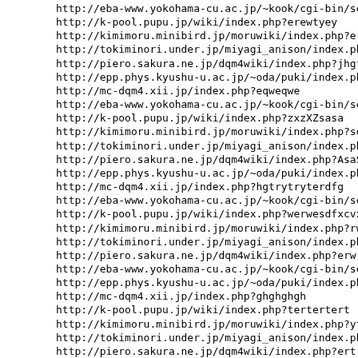http://eba-www.yokohama-cu.ac.jp/~kook/cgi-bin/seminar/inde
http://k-pool.pupu.jp/wiki/index.php?erewtyey
http://kimimoru.minibird.jp/moruwiki/index.php?ertdfgdfg
http://tokiminori.under.jp/miyagi_anison/index.php?ljhgfouy
http://piero.sakura.ne.jp/dqm4wiki/index.php?jhgfuytr
http://epp.phys.kyushu-u.ac.jp/~oda/puki/index.php?qweqwsda
http://mc-dqm4.xii.jp/index.php?eqweqwe
http://eba-www.yokohama-cu.ac.jp/~kook/cgi-bin/seminar/inde
http://k-pool.pupu.jp/wiki/index.php?zxzXZsasa
http://kimimoru.minibird.jp/moruwiki/index.php?sdasdfsfd
http://tokiminori.under.jp/miyagi_anison/index.php?sadcxczx
http://piero.sakura.ne.jp/dqm4wiki/index.php?AsaSa
http://epp.phys.kyushu-u.ac.jp/~oda/puki/index.php?ounmnmgh
http://mc-dqm4.xii.jp/index.php?hgtrytryterdfg
http://eba-www.yokohama-cu.ac.jp/~kook/cgi-bin/seminar/inde
http://k-pool.pupu.jp/wiki/index.php?werwesdfxcvxcv
http://kimimoru.minibird.jp/moruwiki/index.php?rwesdfsfvxcv
http://tokiminori.under.jp/miyagi_anison/index.php?werwefsd
http://piero.sakura.ne.jp/dqm4wiki/index.php?erwrdfsxcvxcv
http://eba-www.yokohama-cu.ac.jp/~kook/cgi-bin/seminar/inde
http://epp.phys.kyushu-u.ac.jp/~oda/puki/index.php?cxxzczxc
http://mc-dqm4.xii.jp/index.php?ghghghgh
http://k-pool.pupu.jp/wiki/index.php?tertertert
http://kimimoru.minibird.jp/moruwiki/index.php?yteytrytr
http://tokiminori.under.jp/miyagi_anison/index.php?rytrytry
http://piero.sakura.ne.jp/dqm4wiki/index.php?ertretertert
http://eba-www.yokohama-cu.ac.jp/~kook/cgi-bin/seminar/inde
http://epp.phys.kyushu-u.ac.jp/~oda/puki/index.php?jghjnbvn
http://mc-dqm4.xii.jp/index.php?bvnbvnbvnfgfg
http://k-pool.pupu.jp/wiki/index.php?trytrytryt